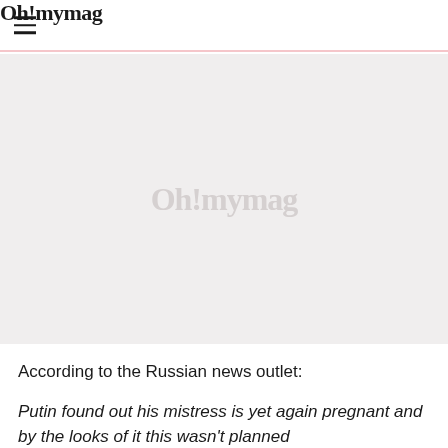Oh!mymag
[Figure (photo): Large image placeholder with watermark logo 'Oh!mymag' on a light grey background]
According to the Russian news outlet:
Putin found out his mistress is yet again pregnant and by the looks of it this wasn't planned